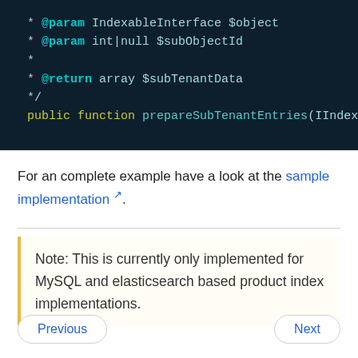[Figure (screenshot): Code block on dark background showing PHP docblock lines: @param IndexableInterface $object, @param int|null $subObjectId, * (empty), @return array $subTenantData, */, and public function prepareSubTenantEntries(IIndexab...]
For an complete example have a look at the sample implementation.
Note: This is currently only implemented for MySQL and elasticsearch based product index implementations.